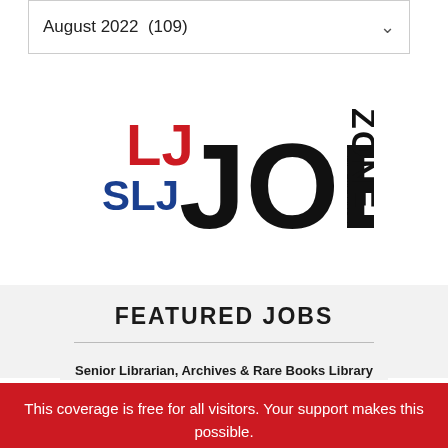August 2022  (109)
[Figure (logo): LJ SLJ JOB ZONE logo — LJ in red, SLJ in blue, JOB in large black bold, ZONE in black rotated vertically]
FEATURED JOBS
Senior Librarian, Archives & Rare Books Library
University of Cincinnati
This coverage is free for all visitors. Your support makes this possible.
SUBSCRIBE